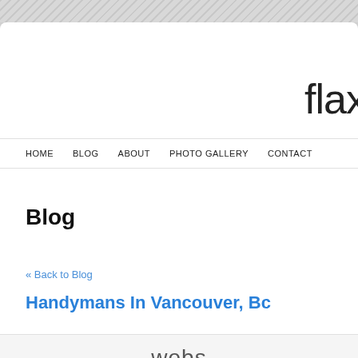flax
HOME   BLOG   ABOUT   PHOTO GALLERY   CONTACT
Blog
« Back to Blog
Handymans In Vancouver, Bc
webs